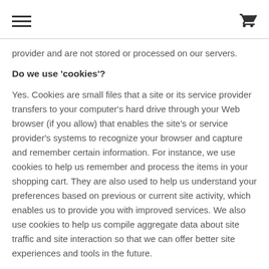[hamburger menu icon] [shopping cart icon]
provider and are not stored or processed on our servers.
Do we use 'cookies'?
Yes. Cookies are small files that a site or its service provider transfers to your computer's hard drive through your Web browser (if you allow) that enables the site's or service provider's systems to recognize your browser and capture and remember certain information. For instance, we use cookies to help us remember and process the items in your shopping cart. They are also used to help us understand your preferences based on previous or current site activity, which enables us to provide you with improved services. We also use cookies to help us compile aggregate data about site traffic and site interaction so that we can offer better site experiences and tools in the future.